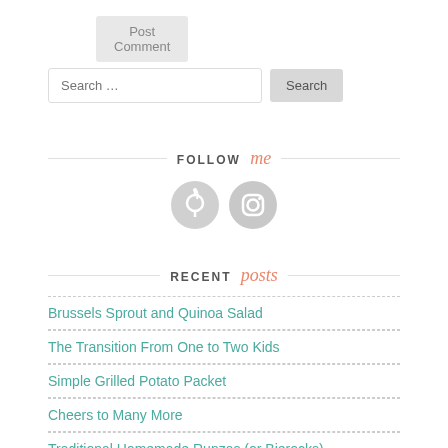Post Comment
Search …
FOLLOW me
[Figure (other): Two circular social media icons: Pinterest and Instagram, in light gray circles]
RECENT posts
Brussels Sprout and Quinoa Salad
The Transition From One to Two Kids
Simple Grilled Potato Packet
Cheers to Many More
Traditional Homemade Runzas (or Bierocks)